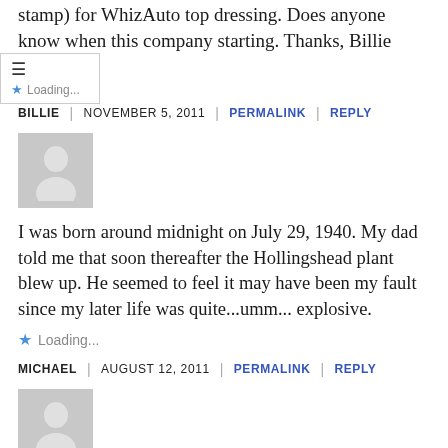stamp) for WhizAuto top dressing. Does anyone know when this company starting. Thanks, Billie
Loading...
BILLIE | NOVEMBER 5, 2011 | PERMALINK | REPLY
[Figure (illustration): Default user avatar placeholder - grey square with white silhouette of a person]
I was born around midnight on July 29, 1940. My dad told me that soon thereafter the Hollingshead plant blew up. He seemed to feel it may have been my fault since my later life was quite...umm... explosive.
Loading...
MICHAEL | AUGUST 12, 2011 | PERMALINK | REPLY
[Figure (illustration): Default user avatar placeholder - grey square with white silhouette of a person]